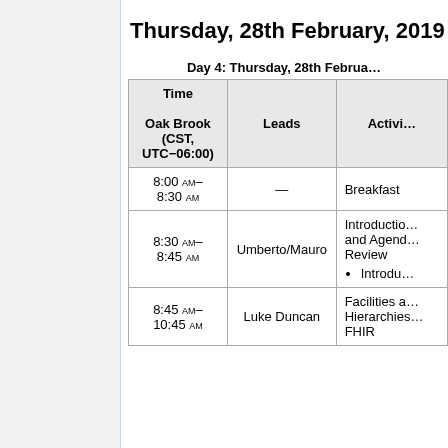Thursday, 28th February, 2019
Day 4: Thursday, 28th February…
| Time Oak Brook (CST, UTC−06:00) | Leads | Activities |
| --- | --- | --- |
| 8:00 AM– 8:30 AM | — | Breakfast |
| 8:30 AM– 8:45 AM | Umberto/Mauro | Introduction and Agenda Review • Introdu… |
| 8:45 AM– 10:45 AM | Luke Duncan | Facilities a… Hierarchies… FHIR |